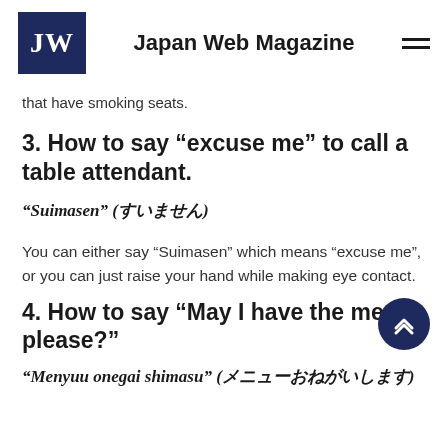Japan Web Magazine
that have smoking seats.
3. How to say “excuse me” to call a table attendant.
“Suimasen” (すいません)
You can either say “Suimasen” which means “excuse me”, or you can just raise your hand while making eye contact.
4. How to say “May I have the menu, please?”
“Menyuu onegai shimasu” (メニューおねがいします)